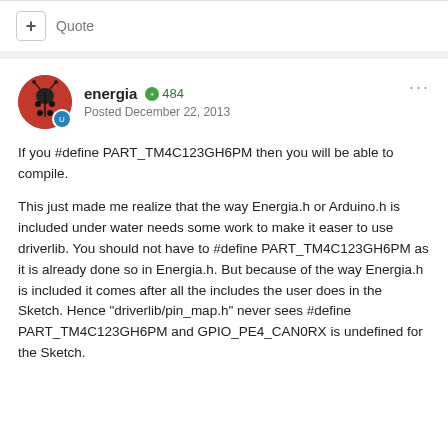+ Quote
energia  484
Posted December 22, 2013
If you #define PART_TM4C123GH6PM then you will be able to compile.
This just made me realize that the way Energia.h or Arduino.h is included under water needs some work to make it easer to use driverlib. You should not have to #define PART_TM4C123GH6PM as it is already done so in Energia.h. But because of the way Energia.h is included it comes after all the includes the user does in the Sketch. Hence "driverlib/pin_map.h" never sees #define PART_TM4C123GH6PM and GPIO_PE4_CAN0RX is undefined for the Sketch.